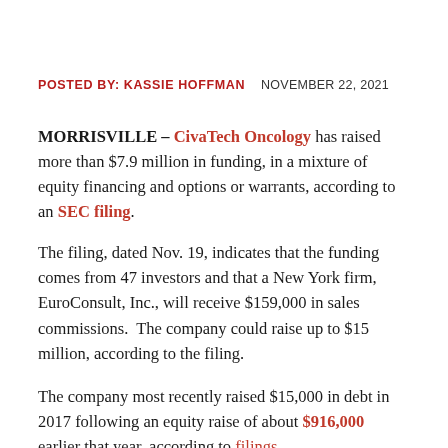POSTED BY: KASSIE HOFFMAN   NOVEMBER 22, 2021
MORRISVILLE – CivaTech Oncology has raised more than $7.9 million in funding, in a mixture of equity financing and options or warrants, according to an SEC filing.
The filing, dated Nov. 19, indicates that the funding comes from 47 investors and that a New York firm, EuroConsult, Inc., will receive $159,000 in sales commissions.  The company could raise up to $15 million, according to the filing.
The company most recently raised $15,000 in debt in 2017 following an equity raise of about $916,000 earlier that year, according to filings.
In September, the company's treatment for a soft tissue